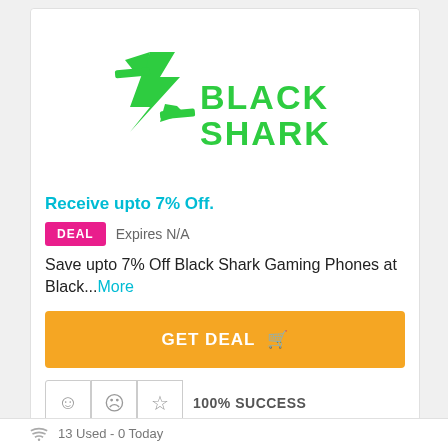[Figure (logo): Black Shark logo — green stylized S icon with 'BLACK SHARK' text in bold green capital letters]
Receive upto 7% Off.
DEAL   Expires N/A
Save upto 7% Off Black Shark Gaming Phones at Black...More
GET DEAL
100% SUCCESS
13 Used - 0 Today